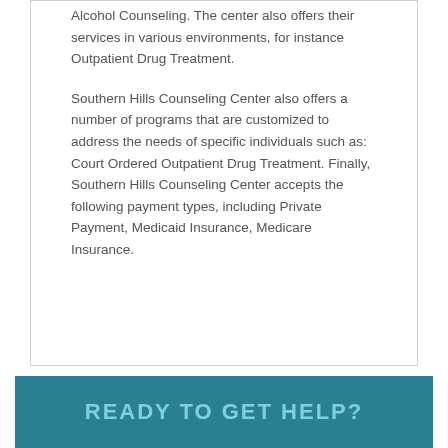Alcohol Counseling. The center also offers their services in various environments, for instance Outpatient Drug Treatment.
Southern Hills Counseling Center also offers a number of programs that are customized to address the needs of specific individuals such as: Court Ordered Outpatient Drug Treatment. Finally, Southern Hills Counseling Center accepts the following payment types, including Private Payment, Medicaid Insurance, Medicare Insurance.
READY TO GET HELP?